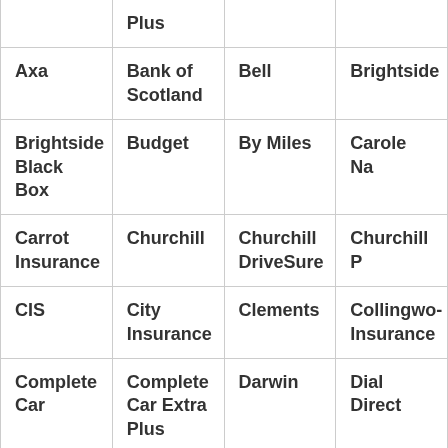|  | Plus |  |  |
| Axa | Bank of Scotland | Bell | Brightside |
| Brightside Black Box | Budget | By Miles | Carole Nas… |
| Carrot Insurance | Churchill | Churchill DriveSure | Churchill P… |
| CIS | City Insurance | Clements | Collingwood Insurance |
| Complete Car | Complete Car Extra Plus | Darwin | Dial Direct… |
| Dial Direct Premier | Diamond | Doddle Cover | Drive Wise… |